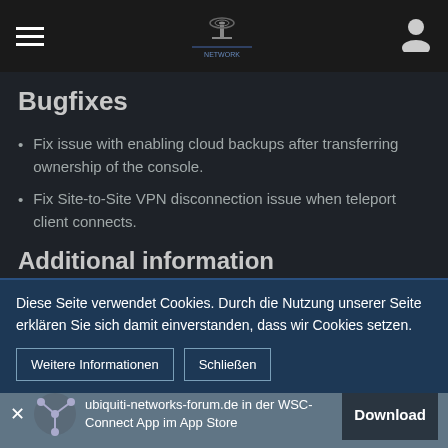Navigation bar with hamburger menu, logo, and user icon
Bugfixes
Fix issue with enabling cloud backups after transferring ownership of the console.
Fix Site-to-Site VPN disconnection issue when teleport client connects.
Additional information
Please report any issues you encounter with this release using the Report Bug form
Diese Seite verwendet Cookies. Durch die Nutzung unserer Seite erklären Sie sich damit einverstanden, dass wir Cookies setzen.
Weitere Informationen | Schließen
ubiquiti-networks-forum.de in der WSC-Connect App im App Store